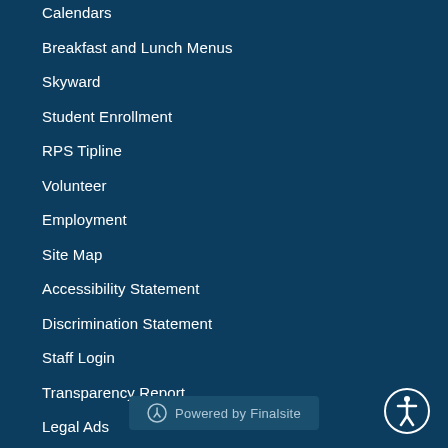Calendars
Breakfast and Lunch Menus
Skyward
Student Enrollment
RPS Tipline
Volunteer
Employment
Site Map
Accessibility Statement
Discrimination Statement
Staff Login
Transparency Report
Legal Ads
Equity Statement
Powered by Finalsite